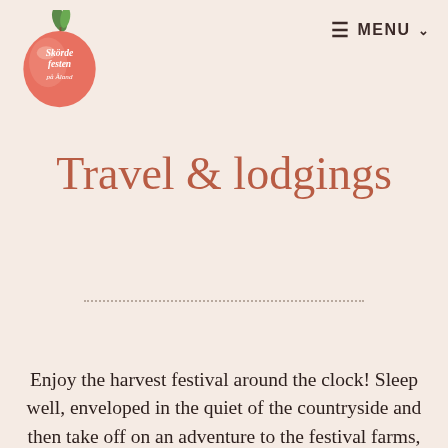[Figure (logo): Skördefesten på Åland apple logo — a pink/red apple with a green leaf and white cursive text]
≡ MENU ∨
Travel & lodgings
Enjoy the harvest festival around the clock! Sleep well, enveloped in the quiet of the countryside and then take off on an adventure to the festival farms, pop-up activities and